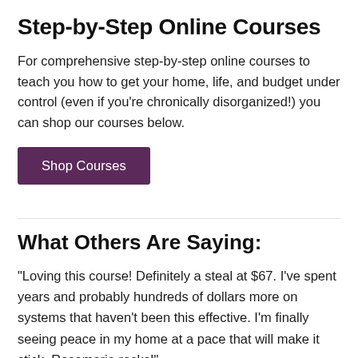Step-by-Step Online Courses
For comprehensive step-by-step online courses to teach you how to get your home, life, and budget under control (even if you're chronically disorganized!) you can shop our courses below.
[Figure (other): Purple button labeled 'Shop Courses']
What Others Are Saying:
"Loving this course! Definitely a steal at $67. I've spent years and probably hundreds of dollars more on systems that haven't been this effective. I'm finally seeing peace in my home at a pace that will make it stick. Rosemarie rocks!"